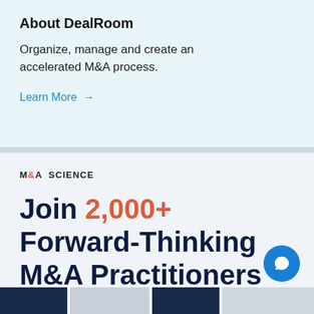About DealRoom
Organize, manage and create an accelerated M&A process.
Learn More →
M&A SCIENCE
Join 2,000+ Forward-Thinking M&A Practitioners